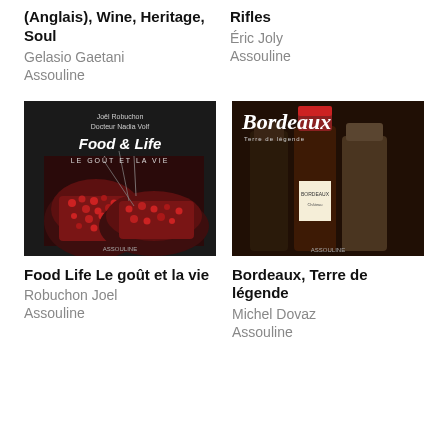(Anglais), Wine, Heritage, Soul
Gelasio Gaetani
Assouline
Rifles
Éric Joly
Assouline
[Figure (photo): Book cover: Food & Life Le goût et la vie by Joël Robuchon and Docteur Nadia Volf, featuring pomegranate halves on a black background, Assouline publisher]
[Figure (photo): Book cover: Bordeaux Terre de légende, featuring wine bottles on a dark background, Assouline publisher]
Food Life Le goût et la vie
Robuchon Joel
Assouline
Bordeaux, Terre de légende
Michel Dovaz
Assouline